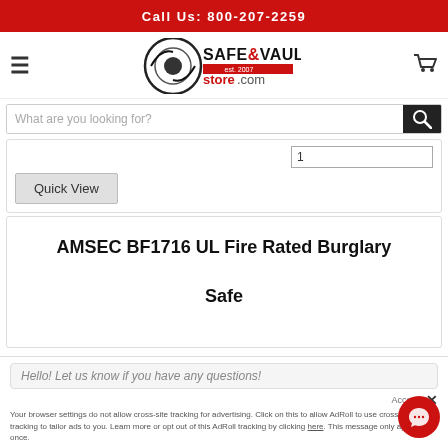Call Us: 800-207-2259
[Figure (logo): Safe & Vault Store.com logo with hamburger menu icon on left and cart icon on right]
What are you looking for?
1
Quick View
AMSEC BF1716 UL Fire Rated Burglary Safe
Hello! Let us know if you have any questions!
Accept
Your browser settings do not allow cross-site tracking for advertising. Click on this to allow AdRoll to use cross-site tracking to tailor ads to you. Learn more or opt out of this AdRoll tracking by clicking here. This message only appears once.